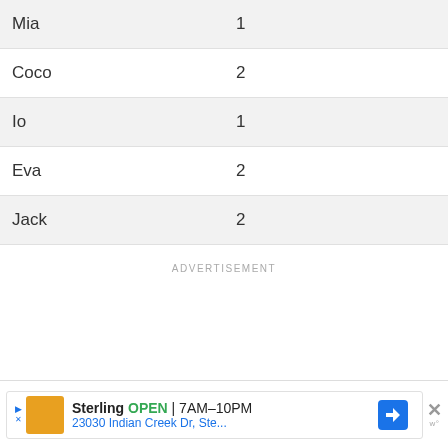| Mia | 1 |
| Coco | 2 |
| Io | 1 |
| Eva | 2 |
| Jack | 2 |
ADVERTISEMENT
[Figure (other): Advertisement banner for Sterling showing OPEN 7AM-10PM, 23030 Indian Creek Dr, Ste... with navigation icon and close button]